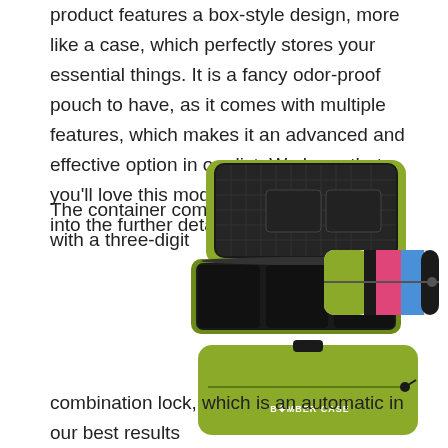product features a box-style design, more like a case, which perfectly stores your essential things. It is a fancy odor-proof pouch to have, as it comes with multiple features, which makes it an advanced and effective option in our list. We hope that you'll love this modern product, so let's dig into the further details.
The container comes with a three-digit
[Figure (photo): Three Bomber Case box-style cases shown: one open green case revealing compartments and mesh lid, one closed multicolor (pink, blue, green, black) case, and one closed green case with 'BOMBER CASE' text on it.]
combination lock, which is an automatic in our best results